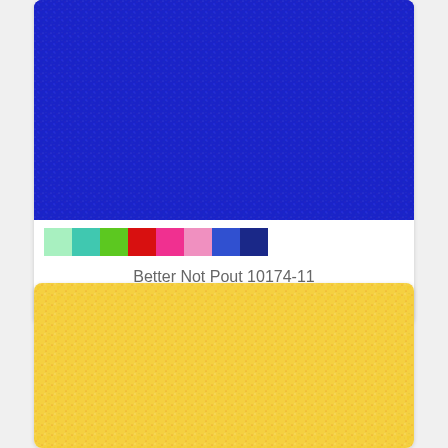[Figure (photo): Blue fabric with small multicolor dots/pins pattern - Better Not Pout 10174-11]
[Figure (infographic): Color swatches row: mint green, teal, lime green, red/crimson, hot pink, light pink, medium blue, dark navy]
Better Not Pout 10174-11
$11.99
[Figure (photo): Yellow fabric with small multicolor dots/pins pattern - variant of Better Not Pout collection]